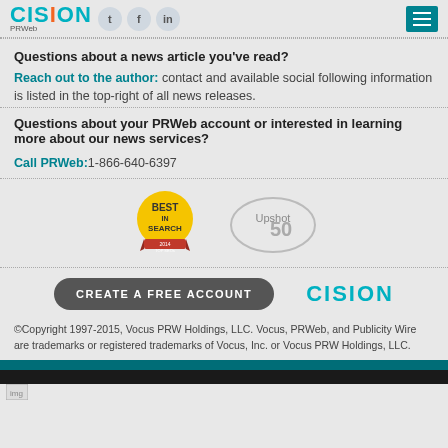CISION PRWeb [social icons] [menu button]
Questions about a news article you've read?
Reach out to the author: contact and available social following information is listed in the top-right of all news releases.
Questions about your PRWeb account or interested in learning more about our news services?
Call PRWeb: 1-866-640-6397
[Figure (logo): Best Search award badge (circular yellow and red ribbon) and Upshot 50 award badge (circular gray)]
CREATE A FREE ACCOUNT   CISION
©Copyright 1997-2015, Vocus PRW Holdings, LLC. Vocus, PRWeb, and Publicity Wire are trademarks or registered trademarks of Vocus, Inc. or Vocus PRW Holdings, LLC.